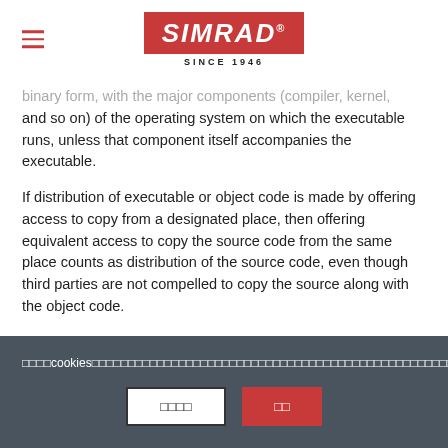SIMRAD SINCE 1946
binary form, with the major components (compiler, kernel, and so on) of the operating system on which the executable runs, unless that component itself accompanies the executable.
If distribution of executable or object code is made by offering access to copy from a designated place, then offering equivalent access to copy the source code from the same place counts as distribution of the source code, even though third parties are not compelled to copy the source along with the object code.
□□□□cookies□□□□□□□□□□□□□□□□□□□□□□□□□□□□□□□□□□□□□□□□□□□□□□□□□□□□□□□□□□□□□□cookies□□□□□□□□□□□□cookie□□